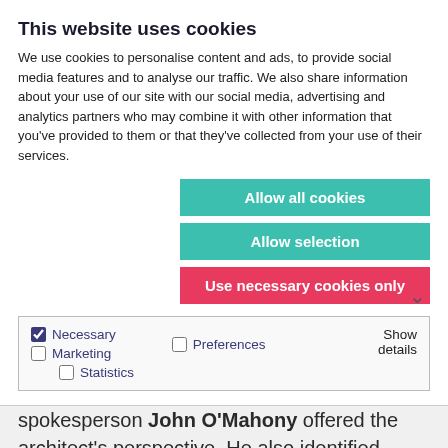This website uses cookies
We use cookies to personalise content and ads, to provide social media features and to analyse our traffic. We also share information about your use of our site with our social media, advertising and analytics partners who may combine it with other information that you've provided to them or that they've collected from your use of their services.
Allow all cookies
Allow selection
Use necessary cookies only
Necessary  Preferences  Statistics  Marketing  Show details
per year.
RIAI Vice President and housing spokesperson John O'Mahony offered the architect's perspective. He also identified blockages in the system –"it can take currently 78 weeks from concept to final grant of permission – a process that should only take 25 weeks". "Strategic Development Zones (SDZ) can